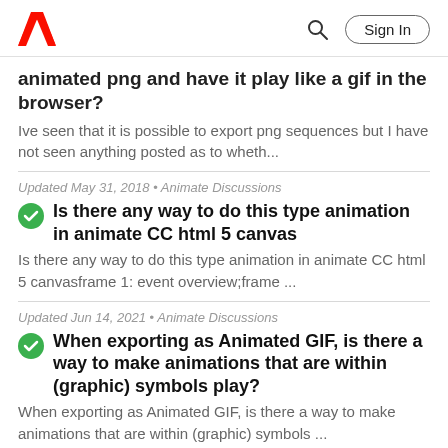Adobe logo | Search | Sign In
animated png and have it play like a gif in the browser?
Ive seen that it is possible to export png sequences but I have not seen anything posted as to wheth...
Updated May 31, 2018 • Animate Discussions
Is there any way to do this type animation in animate CC html 5 canvas
Is there any way to do this type animation in animate CC html 5 canvasframe 1: event overview;frame ...
Updated Jun 14, 2021 • Animate Discussions
When exporting as Animated GIF, is there a way to make animations that are within (graphic) symbols play?
When exporting as Animated GIF, is there a way to make animations that are within (graphic) symbols ...